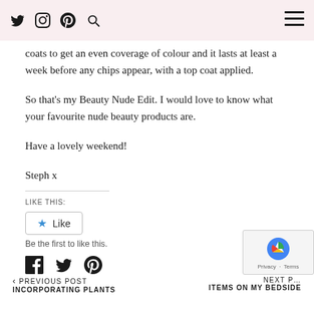Social icons: Twitter, Instagram, Pinterest, Search, Hamburger menu
coats to get an even coverage of colour and it lasts at least a week before any chips appear, with a top coat applied.
So that’s my Beauty Nude Edit. I would love to know what your favourite nude beauty products are.
Have a lovely weekend!
Steph x
LIKE THIS:
Like — Be the first to like this.
Social share icons: Facebook, Twitter, Pinterest
< PREVIOUS POST — INCORPORATING PLANTS | NEXT P… — ITEMS ON MY BEDSIDE